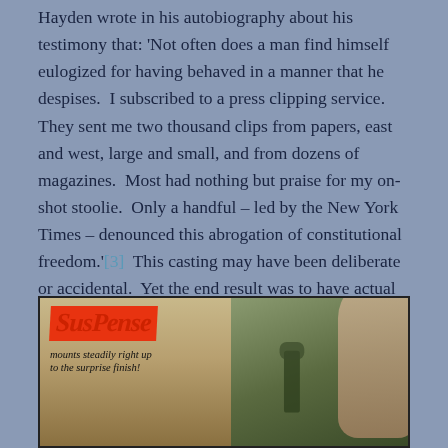Hayden wrote in his autobiography about his testimony that: 'Not often does a man find himself eulogized for having behaved in a manner that he despises.  I subscribed to a press clipping service.  They sent me two thousand clips from papers, east and west, large and small, and from dozens of magazines.  Most had nothing but praise for my on-shot stoolie.  Only a handful – led by the New York Times – denounced this abrogation of constitutional freedom.'[3]  This casting may have been deliberate or accidental.  Yet the end result was to have actual participants acting out their roles in a political allegory.
[Figure (photo): Movie poster or lobby card for 'Suspense' — red title text on orange-red background on the left, with tagline 'mounts steadily right up to the surprise finish!' partially visible. Right side shows a shadowy green-tinted scene with a figure and a large thumb/hand shape.]